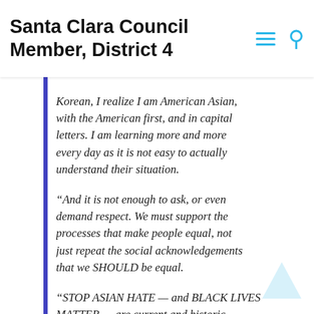Santa Clara Council Member, District 4
Korean, I realize I am American Asian, with the American first, and in capital letters. I am learning more and more every day as it is not easy to actually understand their situation.
“And it is not enough to ask, or even demand respect. We must support the processes that make people equal, not just repeat the social acknowledgements that we SHOULD be equal.
“STOP ASIAN HATE — and BLACK LIVES MATTER — are current and historic movements, centered around events that highlight the race and ethnicity of